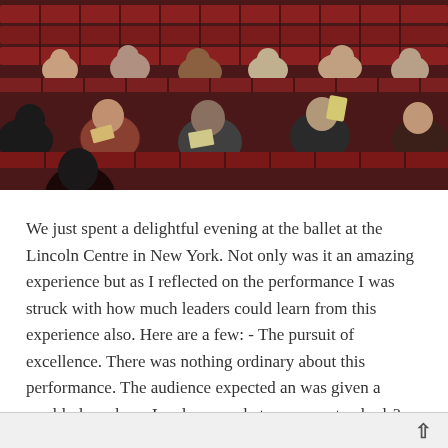[Figure (photo): Overhead view of a theater audience seated in rows of dark red/burgundy seats, people looking at programs or phones, viewed from behind]
We just spent a delightful evening at the ballet at the Lincoln Centre in New York. Not only was it an amazing experience but as I reflected on the performance I was struck with how much leaders could learn from this experience also. Here are a few: - The pursuit of excellence. There was nothing ordinary about this performance. The audience expected an was given a world-class show. Leaders — what are your standards? Are you building a world-class team? - The diversity of the group. ... Read more